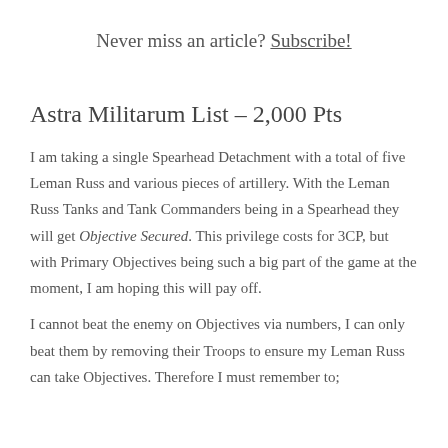Never miss an article? Subscribe!
Astra Militarum List – 2,000 Pts
I am taking a single Spearhead Detachment with a total of five Leman Russ and various pieces of artillery. With the Leman Russ Tanks and Tank Commanders being in a Spearhead they will get Objective Secured. This privilege costs for 3CP, but with Primary Objectives being such a big part of the game at the moment, I am hoping this will pay off.
I cannot beat the enemy on Objectives via numbers, I can only beat them by removing their Troops to ensure my Leman Russ can take Objectives. Therefore I must remember to;